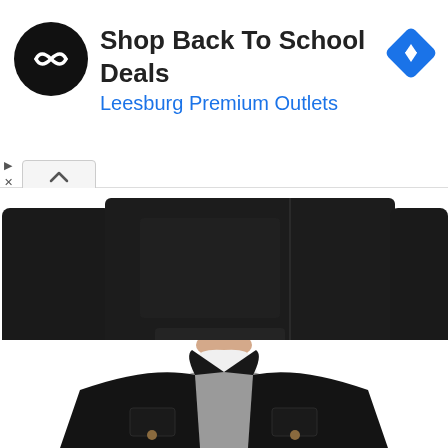[Figure (screenshot): Advertisement banner: circular black logo with double arrow symbol, text 'Shop Back To School Deals' in bold dark, 'Leesburg Premium Outlets' in blue, blue diamond navigation arrow icon on right. Below: ad controls (play triangle, X). Chevron-up button. Product photo of a black waxed jacket laid flat showing body and sleeves. Second product photo of a man wearing a black leather jacket over grey sweater and white shirt, cropped at chin.]